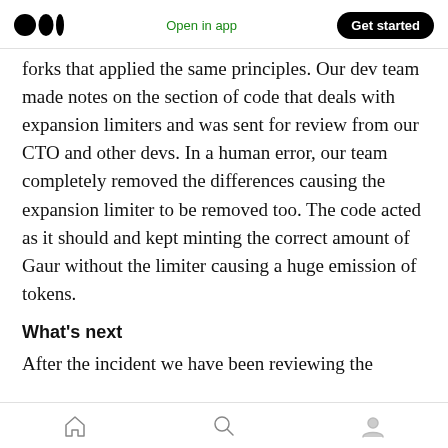Open in app | Get started
forks that applied the same principles. Our dev team made notes on the section of code that deals with expansion limiters and was sent for review from our CTO and other devs. In a human error, our team completely removed the differences causing the expansion limiter to be removed too. The code acted as it should and kept minting the correct amount of Gaur without the limiter causing a huge emission of tokens.
What’s next
After the incident we have been reviewing the
Home | Search | Profile